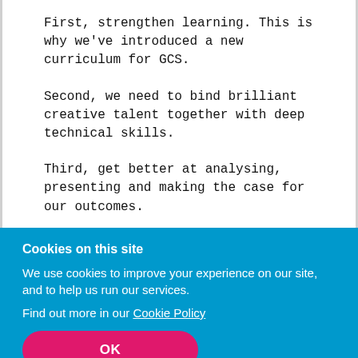First, strengthen learning. This is why we've introduced a new curriculum for GCS.
Second, we need to bind brilliant creative talent together with deep technical skills.
Third, get better at analysing, presenting and making the case for our outcomes.
Finally, work together from Whitehall to the Town Hall. Breaking down silos and work as a team
Cookies on this site
We use cookies to improve your experience on our site, and to help us run our services.
Find out more in our Cookie Policy
OK